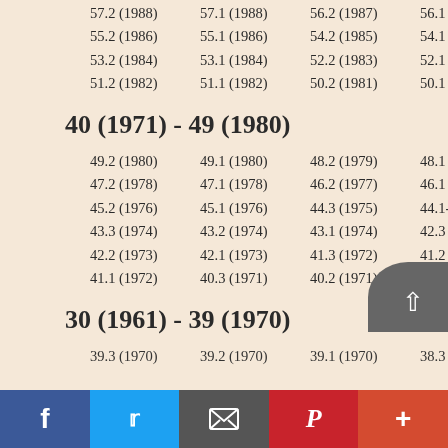57.2 (1988)  57.1 (1988)  56.2 (1987)  56.1 (1987)
55.2 (1986)  55.1 (1986)  54.2 (1985)  54.1 (1985)
53.2 (1984)  53.1 (1984)  52.2 (1983)  52.1 (1983)
51.2 (1982)  51.1 (1982)  50.2 (1981)  50.1 (1981)
40 (1971) - 49 (1980)
49.2 (1980)  49.1 (1980)  48.2 (1979)  48.1 (1979)
47.2 (1978)  47.1 (1978)  46.2 (1977)  46.1 (1977)
45.2 (1976)  45.1 (1976)  44.3 (1975)  44.1-2 (1975)
43.3 (1974)  43.2 (1974)  43.1 (1974)  42.3 (1973)
42.2 (1973)  42.1 (1973)  41.3 (1972)  41.2 (1972)
41.1 (1972)  40.3 (1971)  40.2 (1971)  40.1 (1971)
30 (1961) - 39 (1970)
39.3 (1970)  39.2 (1970)  39.1 (1970)  38.3 (1969)